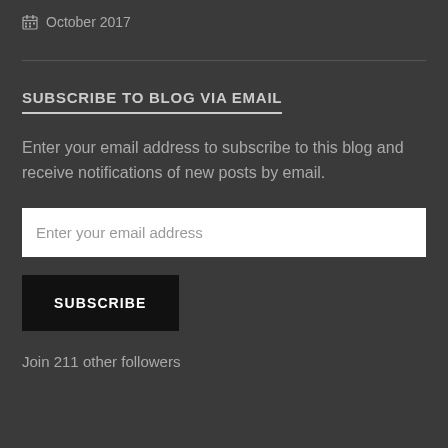October 2017
SUBSCRIBE TO BLOG VIA EMAIL
Enter your email address to subscribe to this blog and receive notifications of new posts by email.
Enter your email address
SUBSCRIBE
Join 211 other followers